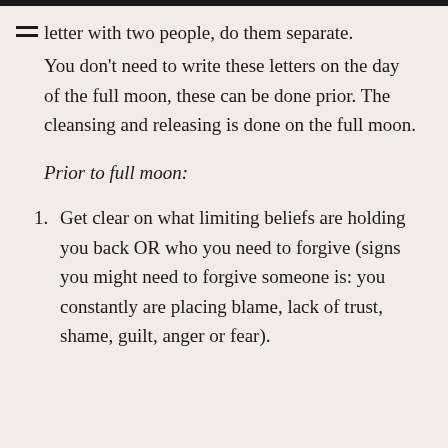letter with two people, do them separate. You don't need to write these letters on the day of the full moon, these can be done prior. The cleansing and releasing is done on the full moon.
Prior to full moon:
Get clear on what limiting beliefs are holding you back OR who you need to forgive (signs you might need to forgive someone is: you constantly are placing blame, lack of trust, shame, guilt, anger or fear).